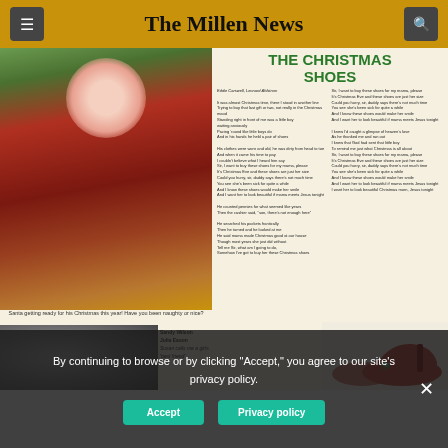The Millen News
[Figure (photo): Santa Claus in red suit with white gloves, arms raised, seated in front of Christmas greenery]
Santa getting ready for his Christmas this year! Have you been naughty or nice?
THE CHRISTMAS SHOES
Lyrics from the song 'The Christmas Shoes' appearing in two columns of small text
[Figure (photo): Small photo bottom left, blurred children or figures]
Sandy Wilson
Julia Eason
Susan calls me a girls best friend.
[Figure (photo): Red high-heeled Christmas shoes with green holly decoration]
By continuing to browse or by clicking "Accept," you agree to our site's privacy policy.
Accept   Privacy policy